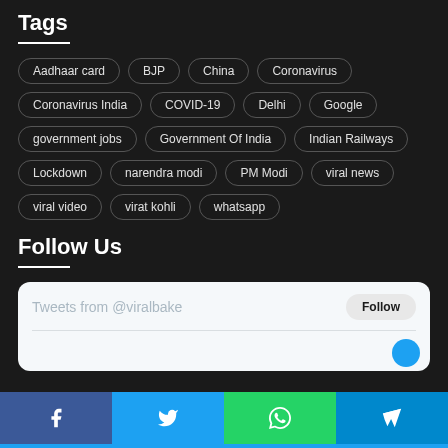Tags
Aadhaar card
BJP
China
Coronavirus
Coronavirus India
COVID-19
Delhi
Google
government jobs
Government Of India
Indian Railways
Lockdown
narendra modi
PM Modi
viral news
viral video
virat kohli
whatsapp
Follow Us
Tweets from @viralbake
Follow
[Figure (screenshot): Social share bar with Facebook, Twitter, WhatsApp, and Telegram buttons]